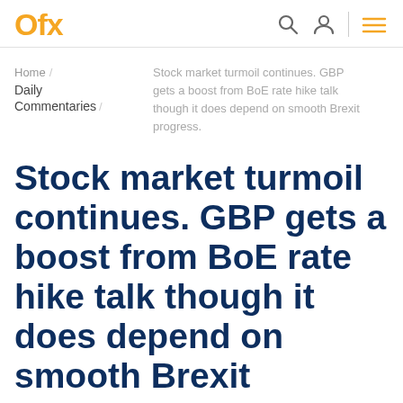OFX
Home / Daily Commentaries / Stock market turmoil continues. GBP gets a boost from BoE rate hike talk though it does depend on smooth Brexit progress.
Stock market turmoil continues. GBP gets a boost from BoE rate hike talk though it does depend on smooth Brexit